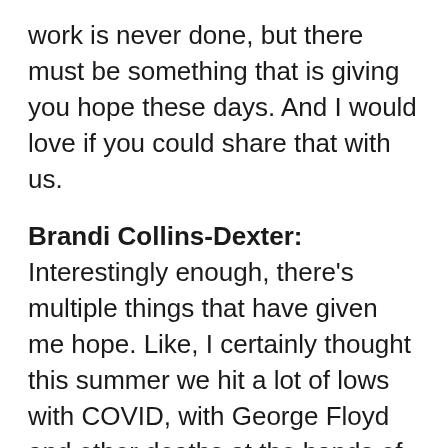work is never done, but there must be something that is giving you hope these days. And I would love if you could share that with us.
Brandi Collins-Dexter: Interestingly enough, there's multiple things that have given me hope. Like, I certainly thought this summer we hit a lot of lows with COVID, with George Floyd and other deaths at the hands of law enforcement and other things coming into play. It really felt very dystopian. And also looking into the data now we saw a spike in people becoming